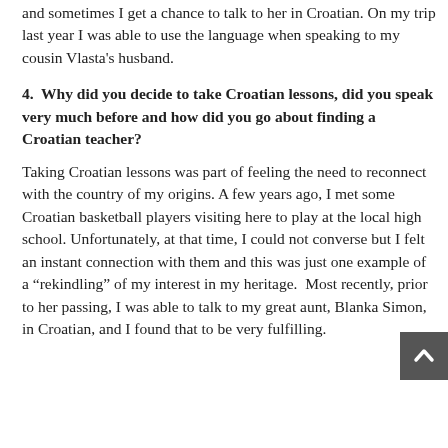and sometimes I get a chance to talk to her in Croatian. On my trip last year I was able to use the language when speaking to my cousin Vlasta's husband.
4.  Why did you decide to take Croatian lessons, did you speak very much before and how did you go about finding a Croatian teacher?
Taking Croatian lessons was part of feeling the need to reconnect with the country of my origins. A few years ago, I met some Croatian basketball players visiting here to play at the local high school. Unfortunately, at that time, I could not converse but I felt an instant connection with them and this was just one example of a “rekindling” of my interest in my heritage.  Most recently, prior to her passing, I was able to talk to my great aunt, Blanka Simon, in Croatian, and I found that to be very fulfilling.